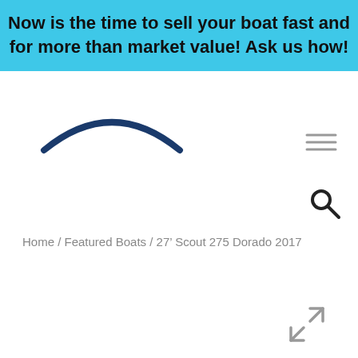Now is the time to sell your boat fast and for more than market value! Ask us how!
[Figure (logo): Partial arc logo shape in dark navy blue, top portion of a circle]
[Figure (other): Hamburger menu icon with three horizontal gray lines]
[Figure (other): Search/magnifying glass icon in dark gray]
Home / Featured Boats / 27' Scout 275 Dorado 2017
[Figure (other): Expand/fullscreen icon arrows pointing outward in gray]